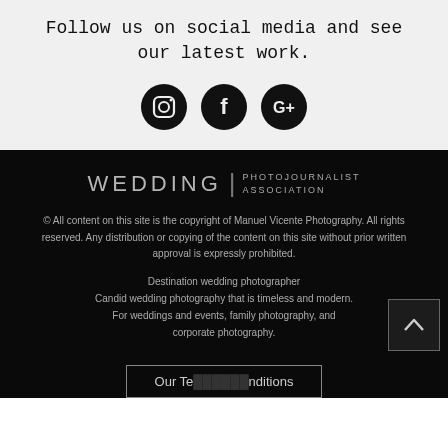Follow us on social media and see our latest work.
[Figure (illustration): Three social media icons (Instagram, Facebook, Google+) as black circles on grey background]
[Figure (logo): Wedding Photojournalist Association logo in white/grey text on black background]
© All content on this site is the copyright of Manuel Vicente Photography. All rights reserved. Any distribution or copying of the content on this site without prior written approval is expressly prohibited.
Destination wedding photographer
Candid wedding photography that is timeless and modern.
For weddings and events, family photography, and corporate photography.
Our Terms & Conditions